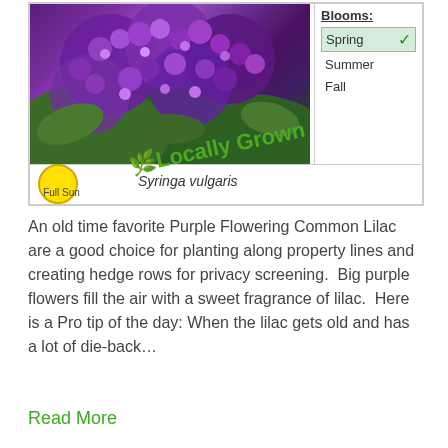[Figure (illustration): Plant label card showing purple lilac flowers (Syringa vulgaris) photo on left, bloom season checkboxes on right (Spring checked, Summer, Fall), yellow sun icon with 'Full Sun' label, and 'Locally Grown' text with leaf icon in green diagonal text]
An old time favorite Purple Flowering Common Lilac are a good choice for planting along property lines and creating hedge rows for privacy screening.  Big purple flowers fill the air with a sweet fragrance of lilac.  Here is a Pro tip of the day: When the lilac gets old and has a lot of die-back…
Read More